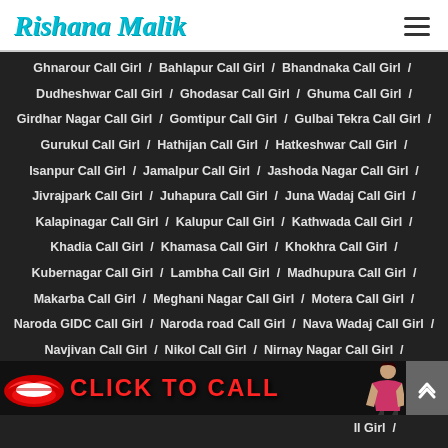Rishana Malik
Ghnarour Call Girl / Bahlapur Call Girl / Bhandnaka Call Girl / Dudheshwar Call Girl / Ghodasar Call Girl / Ghuma Call Girl / Girdhar Nagar Call Girl / Gomtipur Call Girl / Gulbai Tekra Call Girl / Gurukul Call Girl / Hathijan Call Girl / Hatkeshwar Call Girl / Isanpur Call Girl / Jamalpur Call Girl / Jashoda Nagar Call Girl / Jivrajpark Call Girl / Juhapura Call Girl / Juna Wadaj Call Girl / Kalapinagar Call Girl / Kalupur Call Girl / Kathwada Call Girl / Khadia Call Girl / Khamasa Call Girl / Khokhra Call Girl / Kubernagar Call Girl / Lambha Call Girl / Madhupura Call Girl / Makarba Call Girl / Meghani Nagar Call Girl / Motera Call Girl / Naroda GIDC Call Girl / Naroda road Call Girl / Nava Wadaj Call Girl / Navjivan Call Girl / Nikol Call Girl / Nirnay Nagar Call Girl / Noblenagar Call Girl / Odhav Call Girl / Ognaj Call Girl / Raikhad Call Girl / Rakhial Call Girl / Ramdev Nagar Call Girl /
[Figure (infographic): Red lips SVG icon on left, CLICK TO CALL text in red, woman illustration on right, scroll-up button]
ll Girl /